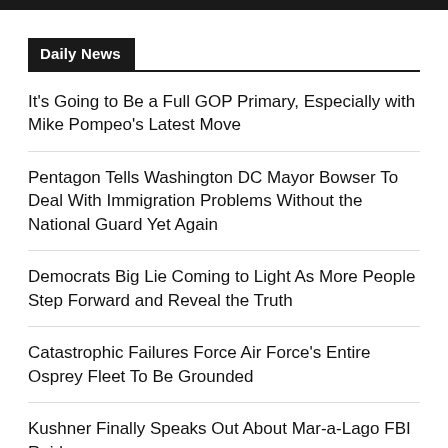Daily News
It's Going to Be a Full GOP Primary, Especially with Mike Pompeo's Latest Move
Pentagon Tells Washington DC Mayor Bowser To Deal With Immigration Problems Without the National Guard Yet Again
Democrats Big Lie Coming to Light As More People Step Forward and Reveal the Truth
Catastrophic Failures Force Air Force's Entire Osprey Fleet To Be Grounded
Kushner Finally Speaks Out About Mar-a-Lago FBI Raid